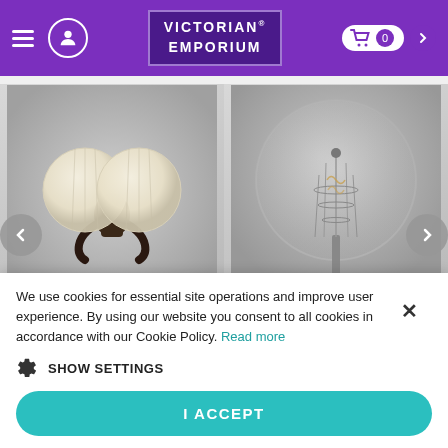[Figure (screenshot): Victorian Emporium website header with purple background, hamburger menu, user icon, logo, and shopping cart]
[Figure (photo): Double globe wall light product card with image of ornate double globe wall light and price £316.80]
[Figure (photo): E27 LED filament globe light bulb product card with image and price £7.20]
We use cookies for essential site operations and improve user experience. By using our website you consent to all cookies in accordance with our Cookie Policy. Read more
SHOW SETTINGS
I ACCEPT